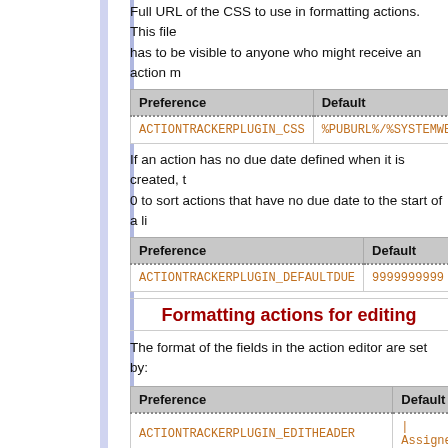Full URL of the CSS to use in formatting actions. This file has to be visible to anyone who might receive an action m
| Preference | Default |
| --- | --- |
| ACTIONTRACKERPLUGIN_CSS | %PUBURL%/%SYSTEMWEB%/Actio |
If an action has no due date defined when it is created, t 0 to sort actions that have no due date to the start of a li
| Preference | Default |
| --- | --- |
| ACTIONTRACKERPLUGIN_DEFAULTDUE | 9999999999 |
Formatting actions for editing
The format of the fields in the action editor are set by:
| Preference | Default |
| --- | --- |
| ACTIONTRACKERPLUGIN_EDITHEADER | | Assigned |
| ACTIONTRACKERPLUGIN_EDITFORMAT | | $who | $o |
| ACTIONTRACKERPLUGIN_EDITORIENT | cols |
You can also override the default EDITBOXWIDTH and EDT